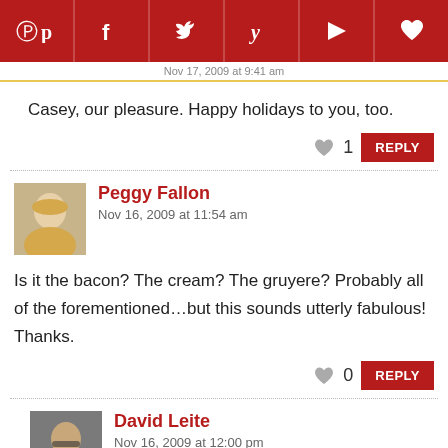Social sharing toolbar with Pinterest, Facebook, Twitter, Yummly, Flipboard, and heart icons
Nov 17, 2009 at 9:41 am
Casey, our pleasure. Happy holidays to you, too.
1  REPLY
Peggy Fallon
Nov 16, 2009 at 11:54 am
Is it the bacon? The cream? The gruyere? Probably all of the forementioned...but this sounds utterly fabulous! Thanks.
0  REPLY
David Leite
Nov 16, 2009 at 12:00 pm